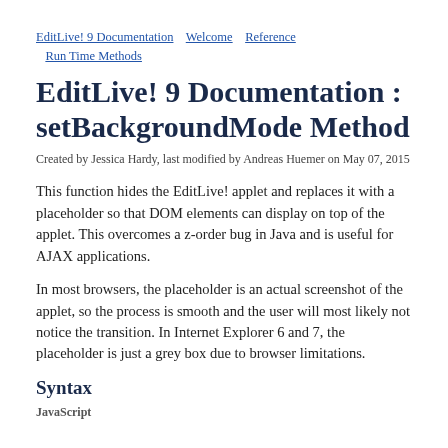EditLive! 9 Documentation   Welcome   Reference   Run Time Methods
EditLive! 9 Documentation : setBackgroundMode Method
Created by Jessica Hardy, last modified by Andreas Huemer on May 07, 2015
This function hides the EditLive! applet and replaces it with a placeholder so that DOM elements can display on top of the applet. This overcomes a z-order bug in Java and is useful for AJAX applications.
In most browsers, the placeholder is an actual screenshot of the applet, so the process is smooth and the user will most likely not notice the transition. In Internet Explorer 6 and 7, the placeholder is just a grey box due to browser limitations.
Syntax
JavaScript